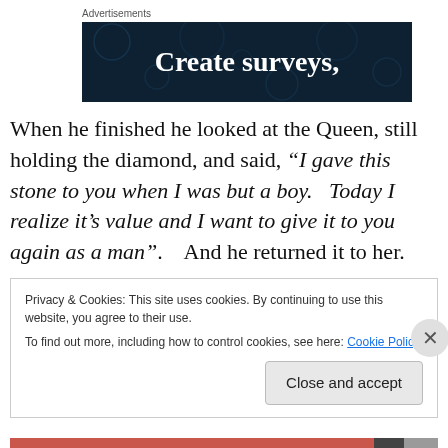Advertisements
[Figure (illustration): Dark teal advertisement banner with decorative circle dots and bold white serif text reading 'Create surveys,']
When he finished he looked at the Queen, still holding the diamond, and said, “I gave this stone to you when I was but a boy.   Today I realize it’s value and I want to give it to you again as a man”.    And he returned it to her.
Privacy & Cookies: This site uses cookies. By continuing to use this website, you agree to their use.
To find out more, including how to control cookies, see here: Cookie Policy
Close and accept